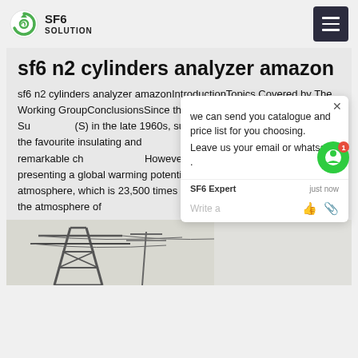SF6 SOLUTION
sf6 n2 cylinders analyzer amazon
sf6 n2 cylinders analyzer amazonIntroductionTopics Covered by The Working GroupConclusionsSince the introduction of Gas Insulated Su... (S) in the late 1960s, sulphur hexafluori... become the favourite insulating and ...g medium thanks to its remarkable ch... However, SF6 has the major draw... presenting a global warming potential (GWP) if released to the atmosphere, which is 23,500 times higher than CO2 and a lifetime in the atmosphere of around 3200 years according to IPCC Assessment
[Figure (photo): Electrical transmission tower or substation equipment photographed from below against a light sky background]